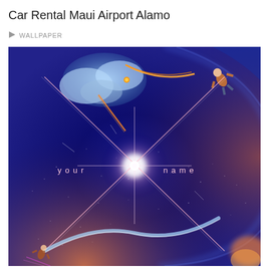Car Rental Maui Airport Alamo
WALLPAPER
[Figure (illustration): Anime movie poster for 'Your Name' (Kimi no Na wa) showing a stylized cosmic scene with a large blue planet/sphere dominating the composition. A bright star-burst light with crossing X-shaped beams sits at the center. The text 'your name' is displayed in spaced-out lowercase letters across the middle. The upper portion shows clouds, an orange comet-like streak, and a character in the upper right corner. The lower portion shows a golden crescent shape and warm orange tones at the bottom edges. The overall palette is deep blue and purple with warm orange accents.]